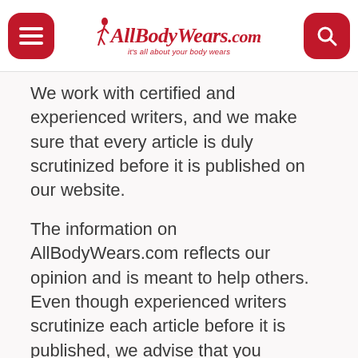AllBodyWears.com — it's all about your body wears
We work with certified and experienced writers, and we make sure that every article is duly scrutinized before it is published on our website.
The information on AllBodyWears.com reflects our opinion and is meant to help others. Even though experienced writers scrutinize each article before it is published, we advise that you thoroughly research before making final your decisions.
All Body Wears is a participant in the